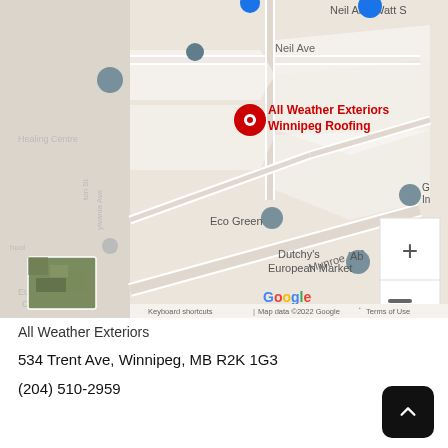[Figure (map): Google Maps screenshot showing location of All Weather Exteriors Winnipeg Roofing at 534 Trent Ave, Winnipeg, MB. The map shows surrounding streets including Neil Ave and Munroe Ave, with nearby landmarks including Eco Green, Dutchy's European Market. Red pin marks the business location. Zoom controls visible at bottom right. Google branding and map data copyright 2022 visible at bottom.]
All Weather Exteriors
534 Trent Ave, Winnipeg, MB R2K 1G3
(204) 510-2959